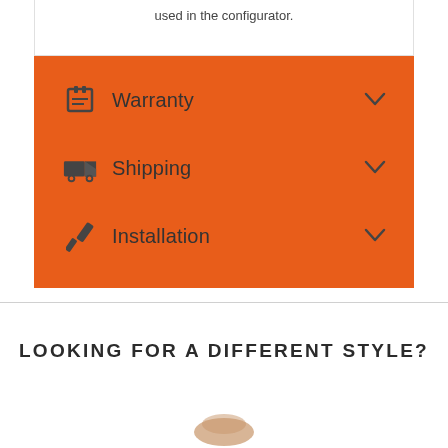used in the configurator.
Warranty
Shipping
Installation
LOOKING FOR A DIFFERENT STYLE?
[Figure (illustration): Partial product image at bottom of page]